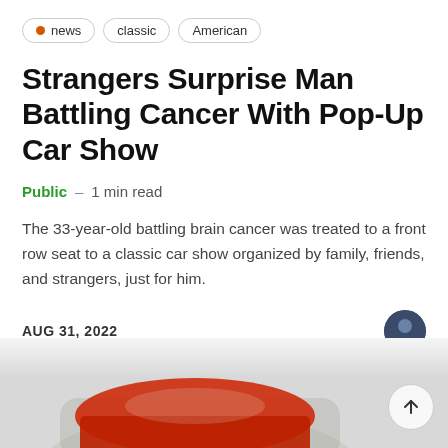news | classic | American
Strangers Surprise Man Battling Cancer With Pop-Up Car Show
Public – 1 min read
The 33-year-old battling brain cancer was treated to a front row seat to a classic car show organized by family, friends, and strangers, just for him.
AUG 31, 2022
[Figure (photo): Partial view of a red classic car at a car show, with a scroll-up button visible in the bottom-right corner]